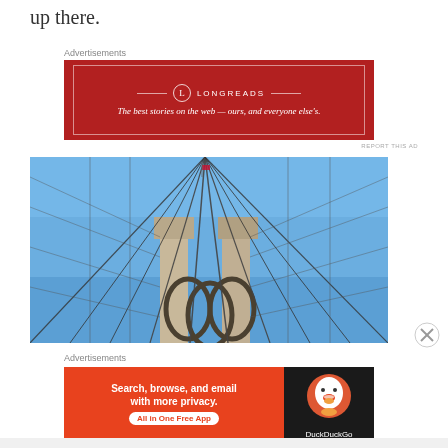up there.
Advertisements
[Figure (infographic): Longreads advertisement: red background with logo and tagline 'The best stories on the web — ours, and everyone else's.']
[Figure (photo): Photograph looking up at the Brooklyn Bridge towers and cables against a blue sky.]
Advertisements
[Figure (infographic): DuckDuckGo advertisement: 'Search, browse, and email with more privacy. All in One Free App' with DuckDuckGo logo on dark background.]